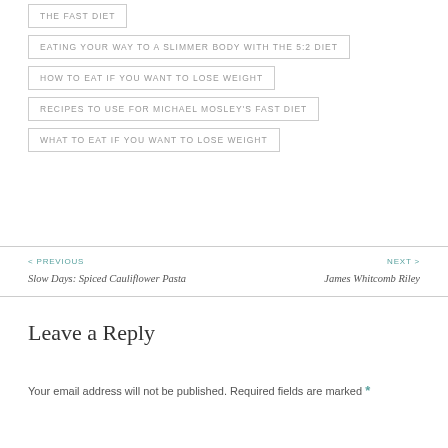THE FAST DIET
EATING YOUR WAY TO A SLIMMER BODY WITH THE 5:2 DIET
HOW TO EAT IF YOU WANT TO LOSE WEIGHT
RECIPES TO USE FOR MICHAEL MOSLEY'S FAST DIET
WHAT TO EAT IF YOU WANT TO LOSE WEIGHT
< PREVIOUS
Slow Days: Spiced Cauliflower Pasta
NEXT >
James Whitcomb Riley
Leave a Reply
Your email address will not be published. Required fields are marked *